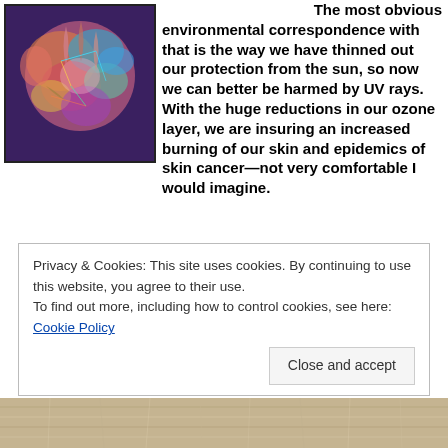[Figure (illustration): Colorful abstract/surreal art illustration showing neural or organic forms in pinks, blues, and oranges with a dark border]
The most obvious environmental correspondence with that is the way we have thinned out our protection from the sun, so now we can better be harmed by UV rays. With the huge reductions in our ozone layer, we are insuring an increased burning of our skin and epidemics of skin cancer—not very comfortable I would imagine.
Privacy & Cookies: This site uses cookies. By continuing to use this website, you agree to their use.
To find out more, including how to control cookies, see here: Cookie Policy
Close and accept
[Figure (photo): Bottom strip of a photo showing what appears to be an animal with light-colored fur on a textured surface]